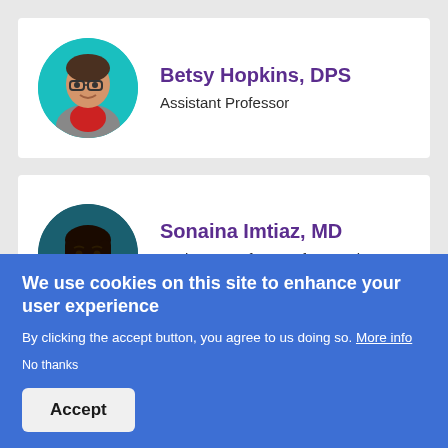[Figure (photo): Circular profile photo of Betsy Hopkins against teal background, person wearing glasses and grey jacket]
Betsy Hopkins, DPS
Assistant Professor
[Figure (photo): Circular profile photo of Sonaina Imtiaz against dark teal background, woman with dark hair]
Sonaina Imtiaz, MD
Assistant Professor of Internal Medicine - Endocrinology
We use cookies on this site to enhance your user experience
By clicking the accept button, you agree to us doing so. More info
No thanks